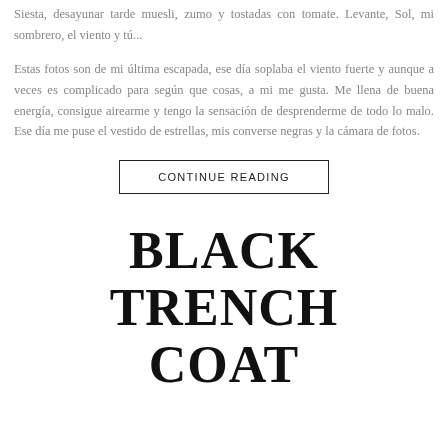Siesta, desayunar tarde muesli, zumo y tostadas con tomate. Levante, Sol, mi sombrero, el viento y tú...
Estas fotos son de mi última escapada, ese día soplaba el viento fuerte y aunque a veces es complicado para según que cosas, a mi me gusta. Me llena de buena energía, consigue airearme y tengo la sensación de desprenderme de todo lo malo. Ese día me puse el vestido de estrellas, mis converse negras y la cámara de fotos.
CONTINUE READING
BLACK TRENCH COAT